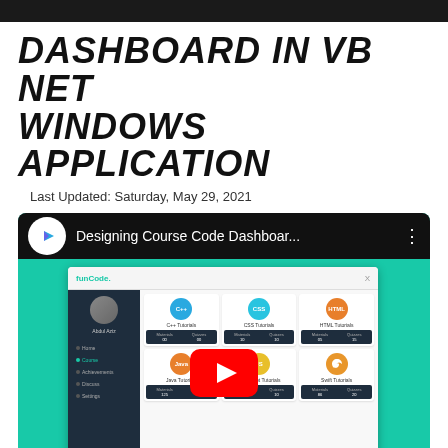DASHBOARD IN VB NET WINDOWS APPLICATION
Last Updated: Saturday, May 29, 2021
[Figure (screenshot): YouTube video thumbnail showing a VB.NET Windows Application dashboard design tutorial. The video is titled 'Designing Course Code Dashboar...' with a YouTube play button overlay. The app screenshot shows a course dashboard with C++, CSS, HTML, Java, JavaScript, and Swift tutorial cards.]